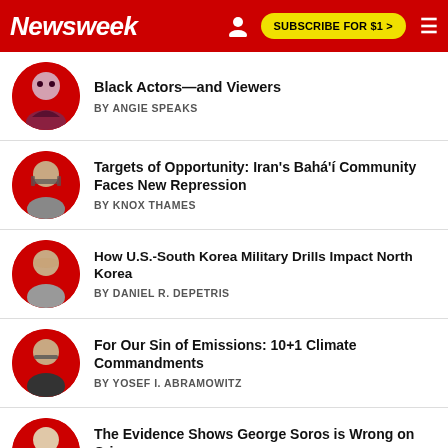Newsweek | SUBSCRIBE FOR $1 >
Black Actors—and Viewers
BY ANGIE SPEAKS
Targets of Opportunity: Iran's Bahá'í Community Faces New Repression
BY KNOX THAMES
How U.S.-South Korea Military Drills Impact North Korea
BY DANIEL R. DEPETRIS
For Our Sin of Emissions: 10+1 Climate Commandments
BY YOSEF I. ABRAMOWITZ
The Evidence Shows George Soros is Wrong on Crime
BY JEFFREY H. ANDERSON